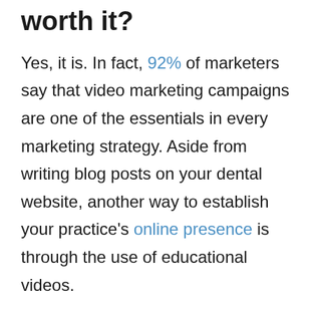worth it?
Yes, it is. In fact, 92% of marketers say that video marketing campaigns are one of the essentials in every marketing strategy. Aside from writing blog posts on your dental website, another way to establish your practice's online presence is through the use of educational videos.
Letting your patients feel at ease right before their dental treatment, is one of the things that you should consider as a